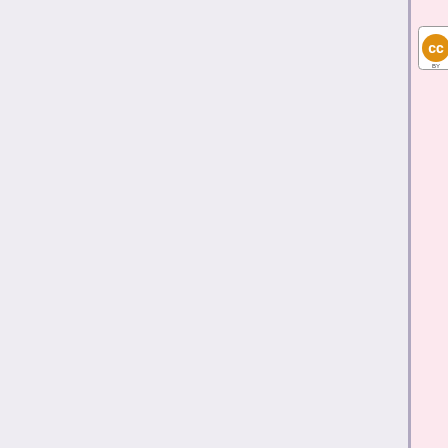[Figure (logo): CC BY-SA Creative Commons license badge]
text as long as you attribute its author(s) or licensor(s). If you alter, transform, or build upon this work, you may distribute the resulting work only under the same or similar license to this one.
Wikipedia article: Sam (shortwave) Yosemite Sam (shortwave)
[Figure (logo): WP large bold logo letters]